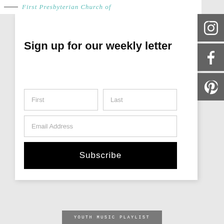First Presbyterian Church of
[Figure (illustration): Instagram icon on dark gray square]
[Figure (illustration): Facebook icon on dark gray square]
[Figure (illustration): Pinterest icon on dark gray square]
Sign up for our weekly letter
First
Last
Email Address
Subscribe
Youth Music Playlist